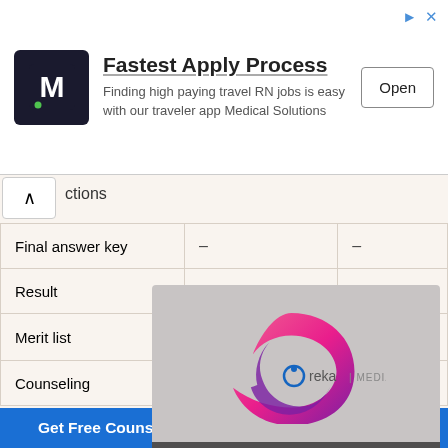[Figure (screenshot): Advertisement banner for Medical Solutions travel RN jobs app with logo, text 'Fastest Apply Process', subtitle, and Open button]
|  |  |  |
| --- | --- | --- |
| Final answer key | – | – |
| Result | – | – |
| Merit list | ✕ | – |
| Counseling |  | – |
[Figure (screenshot): Ureka Media video overlay with pink/magenta spiral logo and video controls]
How to Download
Candidates can download the admit card by following the procedure given below:
Get Free Counselling for UG and PG Courses 2022